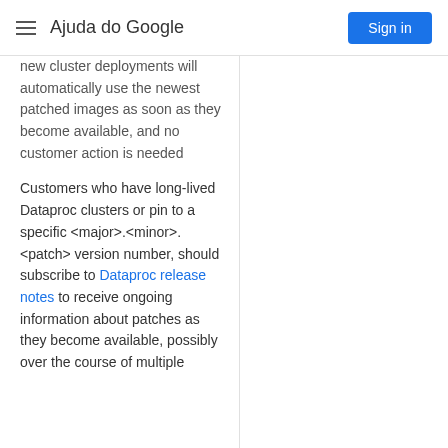Ajuda do Google
new cluster deployments will automatically use the newest patched images as soon as they become available, and no customer action is needed
Customers who have long-lived Dataproc clusters or pin to a specific <major>.<minor>.<patch> version number, should subscribe to Dataproc release notes to receive ongoing information about patches as they become available, possibly over the course of multiple